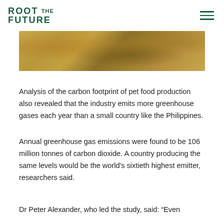ROOT THE FUTURE
[Figure (photo): Close-up photo of pet food kibble pieces in a bowl]
Analysis of the carbon footprint of pet food production also revealed that the industry emits more greenhouse gases each year than a small country like the Philippines.
Annual greenhouse gas emissions were found to be 106 million tonnes of carbon dioxide. A country producing the same levels would be the world's sixtieth highest emitter, researchers said.
Dr Peter Alexander, who led the study, said: “Even